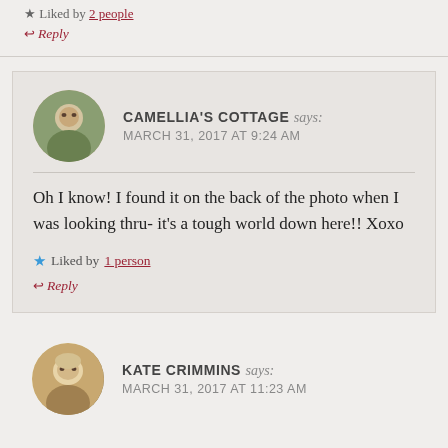Liked by 2 people
Reply
CAMELLIA'S COTTAGE says: MARCH 31, 2017 AT 9:24 AM
Oh I know! I found it on the back of the photo when I was looking thru- it's a tough world down here!! Xoxo
Liked by 1 person
Reply
KATE CRIMMINS says: MARCH 31, 2017 AT 11:23 AM